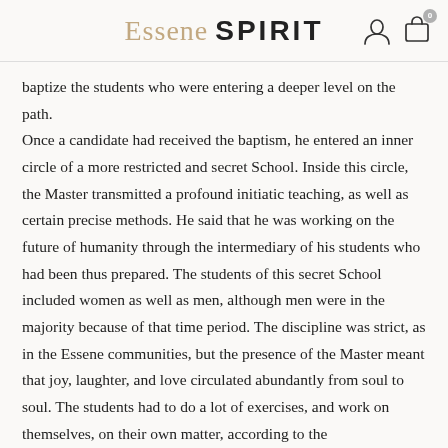Essene Spirit
baptize the students who were entering a deeper level on the path. Once a candidate had received the baptism, he entered an inner circle of a more restricted and secret School. Inside this circle, the Master transmitted a profound initiatic teaching, as well as certain precise methods. He said that he was working on the future of humanity through the intermediary of his students who had been thus prepared. The students of this secret School included women as well as men, although men were in the majority because of that time period. The discipline was strict, as in the Essene communities, but the presence of the Master meant that joy, laughter, and love circulated abundantly from soul to soul. The students had to do a lot of exercises, and work on themselves, on their own matter, according to the